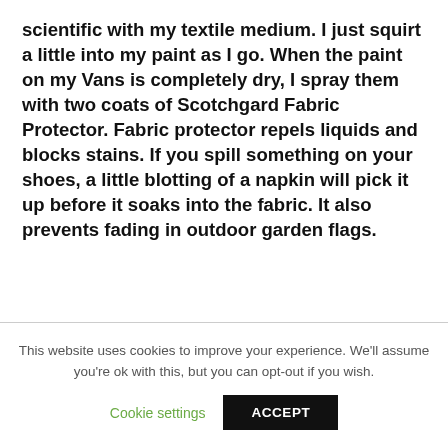scientific with my textile medium. I just squirt a little into my paint as I go. When the paint on my Vans is completely dry, I spray them with two coats of Scotchgard Fabric Protector. Fabric protector repels liquids and blocks stains. If you spill something on your shoes, a little blotting of a napkin will pick it up before it soaks into the fabric. It also prevents fading in outdoor garden flags.
This website uses cookies to improve your experience. We'll assume you're ok with this, but you can opt-out if you wish. Cookie settings ACCEPT